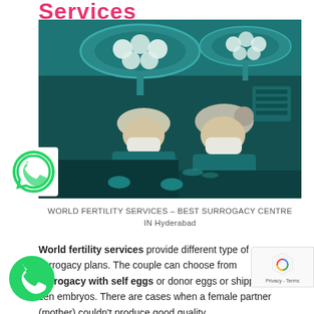Services
[Figure (photo): Two surgeons in green scrubs and masks working under large operating room lights with teal/green ambient lighting]
WORLD FERTILITY SERVICES – BEST SURROGACY CENTRE IN Hyderabad
World fertility services provide different type of surrogacy plans. The couple can choose from surrogacy with self eggs or donor eggs or shipped frozen embryos. There are cases when a female partner (mother) couldn't produce good quality